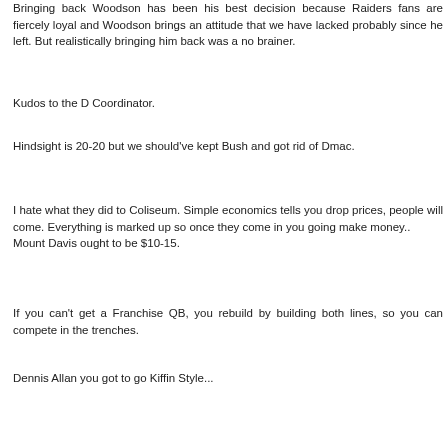Bringing back Woodson has been his best decision because Raiders fans are fiercely loyal and Woodson brings an attitude that we have lacked probably since he left. But realistically bringing him back was a no brainer.
Kudos to the D Coordinator.
Hindsight is 20-20 but we should've kept Bush and got rid of Dmac.
I hate what they did to Coliseum. Simple economics tells you drop prices, people will come. Everything is marked up so once they come in you going make money.. Mount Davis ought to be $10-15.
If you can't get a Franchise QB, you rebuild by building both lines, so you can compete in the trenches.
Dennis Allan you got to go Kiffin Style...